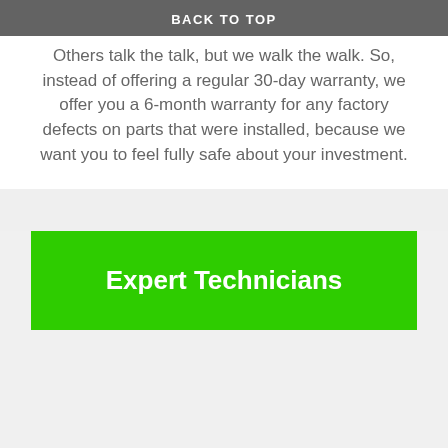BACK TO TOP
Others talk the talk, but we walk the walk. So, instead of offering a regular 30-day warranty, we offer you a 6-month warranty for any factory defects on parts that were installed, because we want you to feel fully safe about your investment.
Expert Technicians